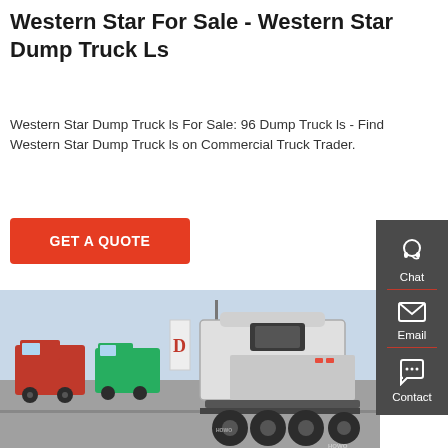Western Star For Sale - Western Star Dump Truck Ls
Western Star Dump Truck ls For Sale: 96 Dump Truck ls - Find Western Star Dump Truck ls on Commercial Truck Trader.
GET A QUOTE
[Figure (photo): Rear view of a white HOWO semi-truck/tractor unit parked in a lot with other red and green trucks in the background.]